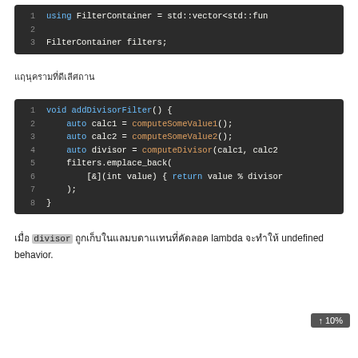[Figure (screenshot): Code block showing lines 1-3: 'using FilterContainer = std::vector<std::fun' and 'FilterContainer filters;' on dark background]
□□□□□□□□□□□□□□□□□□□□□
[Figure (screenshot): Code block showing void addDivisorFilter() function with lines 1-8 on dark background, including auto calc1, calc2, divisor variables and lambda with emplace_back]
□□ divisor □□□□□□□□□□□□□□□□□□□□□□□ lambda □□□□□□□ undefined behavior□